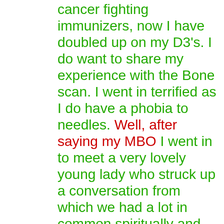cancer fighting immunizers, now I have doubled up on my D3's. I do want to share my experience with the Bone scan. I went in terrified as I do have a phobia to needles. Well, after saying my MBO I went in to meet a very lovely young lady who struck up a conversation from which we had a lot in common spiritually and otherwise. She administered a large needle with the